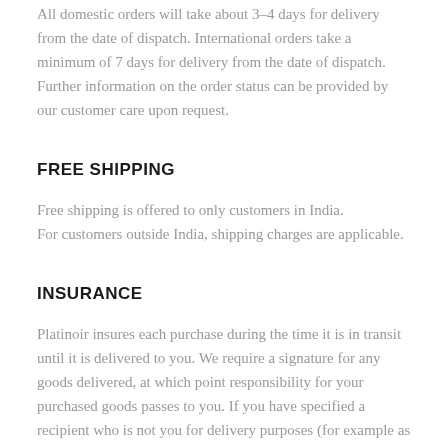All domestic orders will take about 3-4 days for delivery from the date of dispatch. International orders take a minimum of 7 days for delivery from the date of dispatch. Further information on the order status can be provided by our customer care upon request.
FREE SHIPPING
Free shipping is offered to only customers in India.
For customers outside India, shipping charges are applicable.
INSURANCE
Platinoir insures each purchase during the time it is in transit until it is delivered to you. We require a signature for any goods delivered, at which point responsibility for your purchased goods passes to you. If you have specified a recipient who is not you for delivery purposes (for example as a gift) then you accept that evidence of a signature by them